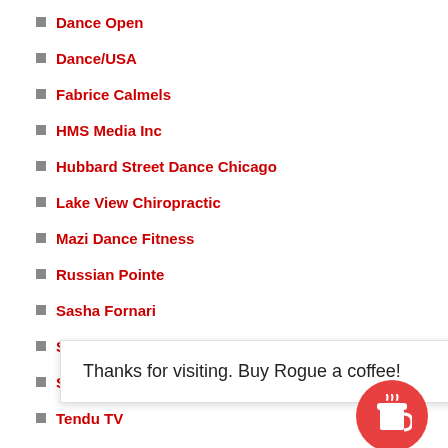Dance Open
Dance/USA
Fabrice Calmels
HMS Media Inc
Hubbard Street Dance Chicago
Lake View Chiropractic
Mazi Dance Fitness
Russian Pointe
Sasha Fornari
See Chicago Dance
Springfield Ballet Company
Tendu TV
The Ballet Bag
The Dance COLEctive
The Seldoms
The Tragic Tendu
Thanks for visiting. Buy Rogue a coffee!